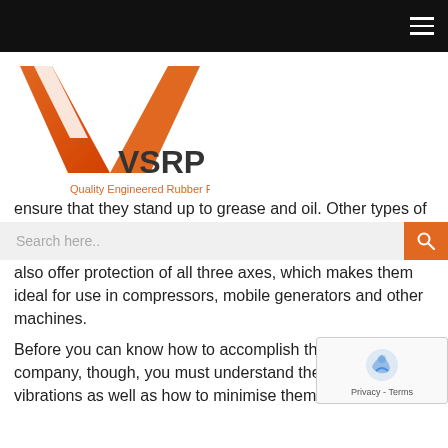VSRP – Quality Engineered Rubber Products
[Figure (logo): VSRP logo – orange V chevron with 'VSRP' text and 'Quality Engineered Rubber Products' subtitle]
ensure that they stand up to grease and oil. Other types of rubber are also offer protection of all three axes, which makes them ideal for use in compressors, mobile generators and other machines.
Before you can know how to accomplish this for your own company, though, you must understand the causes of vibrations as well as how to minimise them.
Causes of Machines Overly Vibrating
Misalignment of Parts
Machine parts must be in proper alignment for the machines to run with as little vibration as possible. When such parts as the rotors and shafts are out of alignment, the machines will overly vibrate and can